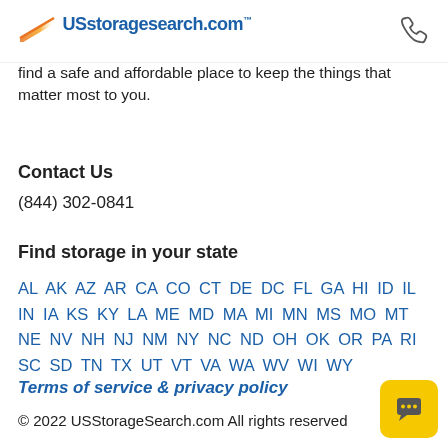USstoragesearch.com
find a safe and affordable place to keep the things that matter most to you.
Contact Us
(844) 302-0841
Find storage in your state
AL AK AZ AR CA CO CT DE DC FL GA HI ID IL IN IA KS KY LA ME MD MA MI MN MS MO MT NE NV NH NJ NM NY NC ND OH OK OR PA RI SC SD TN TX UT VT VA WA WV WI WY
Terms of service & privacy policy
© 2022 USStorageSearch.com All rights reserved